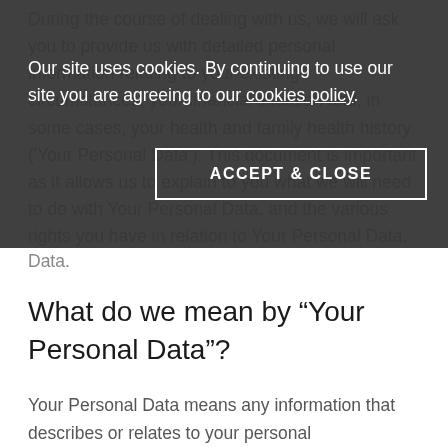During the course of dealing with us, we will ask you to provide us with detailed personal information relating to your existing circumstances, your financial situation and, in some cases, your health and family health history ('Your Personal Data'). This document is important as it allows us to explain to you what we will need to do with Your Personal Data, and the various rights you have in relation to Your Personal Data.
Our site uses cookies. By continuing to use our site you are agreeing to our cookies policy.
ACCEPT & CLOSE
What do we mean by “Your Personal Data”?
Your Personal Data means any information that describes or relates to your personal circumstances. Your Personal Data may identify you directly, for example your name, address, date or birth, National Insurance number. Your Personal Data may also identify you